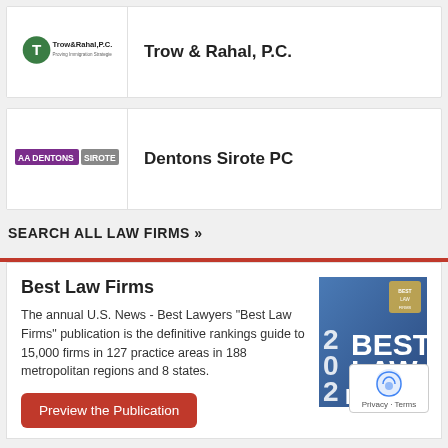[Figure (logo): Trow & Rahal, P.C. logo with green circular T icon]
Trow & Rahal, P.C.
[Figure (logo): Dentons Sirote PC logo with purple and grey text]
Dentons Sirote PC
SEARCH ALL LAW FIRMS »
Best Law Firms
The annual U.S. News - Best Lawyers "Best Law Firms" publication is the definitive rankings guide to 15,000 firms in 127 practice areas in 188 metropolitan regions and 8 states.
[Figure (illustration): 2020 Best Law Firms publication cover image]
Preview the Publication